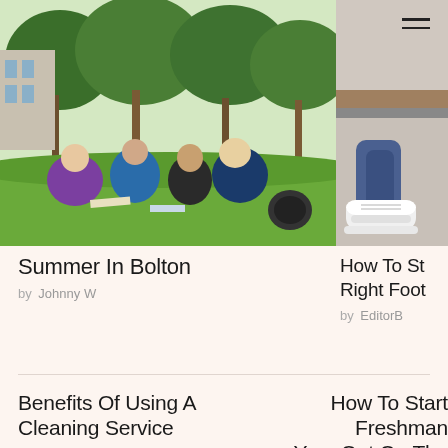[Figure (photo): Students sitting on grass on a college campus, studying together with books, surrounded by trees and a building in the background.]
[Figure (photo): Close-up of a person's feet wearing white sneakers and jeans, on a textured surface.]
Summer In Bolton
by Johnny W
How To St... Right Foot
by EditorB
Benefits Of Using A Cleaning Service
How To Start Freshman Year Out On The Right Foot